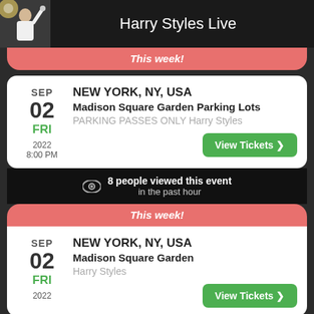Harry Styles Live
This week!
SEP 02 FRI 2022 8:00 PM — NEW YORK, NY, USA — Madison Square Garden Parking Lots — PARKING PASSES ONLY Harry Styles
8 people viewed this event in the past hour
This week!
SEP 02 FRI 2022 — NEW YORK, NY, USA — Madison Square Garden — Harry Styles